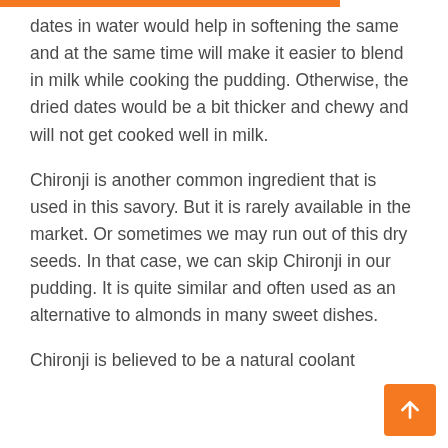dates in water would help in softening the same and at the same time will make it easier to blend in milk while cooking the pudding. Otherwise, the dried dates would be a bit thicker and chewy and will not get cooked well in milk.
Chironji is another common ingredient that is used in this savory. But it is rarely available in the market. Or sometimes we may run out of this dry seeds. In that case, we can skip Chironji in our pudding. It is quite similar and often used as an alternative to almonds in many sweet dishes.
Chironji is believed to be a natural coolant